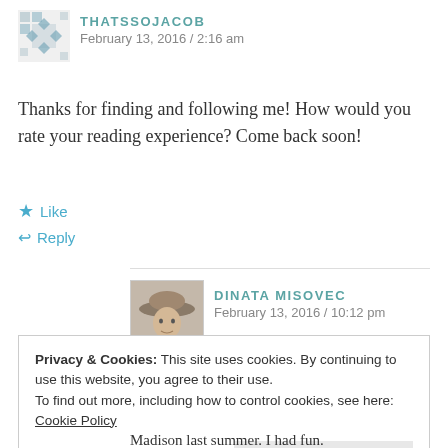THATSSOJACOB — February 13, 2016 / 2:16 am
Thanks for finding and following me! How would you rate your reading experience? Come back soon!
★ Like
↩ Reply
DINATA MISOVEC — February 13, 2016 / 10:12 pm
Privacy & Cookies: This site uses cookies. By continuing to use this website, you agree to their use.
To find out more, including how to control cookies, see here: Cookie Policy
Close and accept
Madison last summer. I had fun.